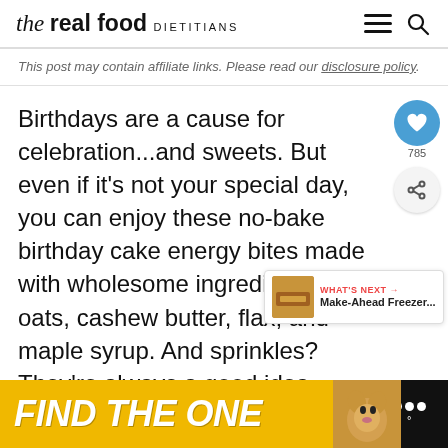the real food DIETITIANS
This post may contain affiliate links. Please read our disclosure policy.
Birthdays are a cause for celebration...and sweets. But even if it’s not your special day, you can enjoy these no-bake birthday cake energy bites made with wholesome ingredients like oats, cashew butter, flax, and maple syrup. And sprinkles? They’re always a good idea whether it’s your birthday or not!
[Figure (other): Social share widget: heart icon (785 saves) and share icon on right side]
[Figure (other): What's Next widget showing Make-Ahead Freezer... article]
[Figure (other): Ad banner at bottom: FIND THE ONE with dog image, yellow background]